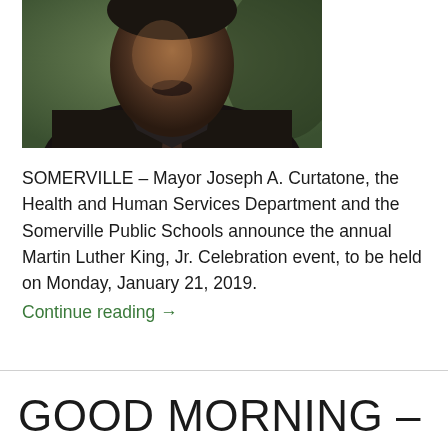[Figure (photo): Close-up portrait photograph of a man, cropped to show face and upper torso, with a green blurred background]
SOMERVILLE – Mayor Joseph A. Curtatone, the Health and Human Services Department and the Somerville Public Schools announce the annual Martin Luther King, Jr. Celebration event, to be held on Monday, January 21, 2019. Continue reading →
GOOD MORNING – TODAY